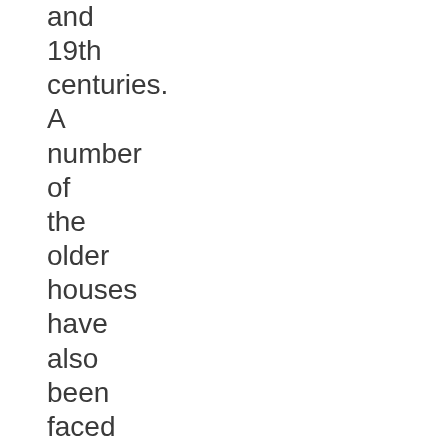and 19th centuries. A number of the older houses have also been faced with brick and fitted with